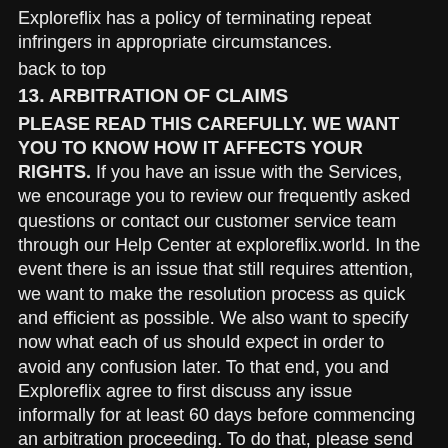Exploreflix has a policy of terminating repeat infringers in appropriate circumstances.
back to top
13. ARBITRATION OF CLAIMS
PLEASE READ THIS CAREFULLY. WE WANT YOU TO KNOW HOW IT AFFECTS YOUR RIGHTS. If you have an issue with the Services, we encourage you to review our frequently asked questions or contact our customer service team through our Help Center at exploreflix.world. In the event there is an issue that still requires attention, we want to make the resolution process as quick and efficient as possible. We also want to specify now what each of us should expect in order to avoid any confusion later. To that end, you and Exploreflix agree to first discuss any issue informally for at least 60 days before commencing an arbitration proceeding. To do that, please send your full name and contact information, your concern and your proposed solution by mail to us at: Monument Media Group, LLC,